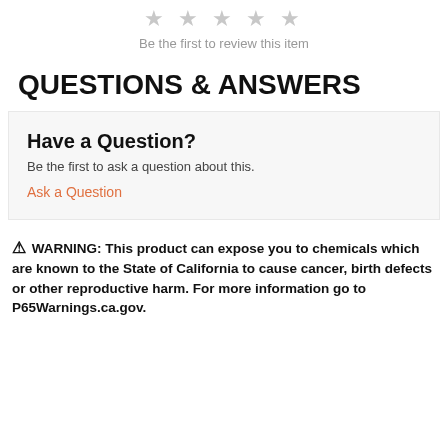[Figure (other): Five empty star icons in a row, colored light gray]
Be the first to review this item
QUESTIONS & ANSWERS
Have a Question?
Be the first to ask a question about this.
Ask a Question
⚠ WARNING: This product can expose you to chemicals which are known to the State of California to cause cancer, birth defects or other reproductive harm. For more information go to P65Warnings.ca.gov.